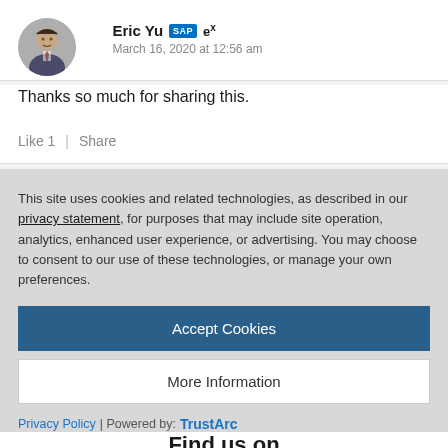[Figure (photo): Circular avatar photo of Eric Yu, a man in a suit]
Eric Yu SAP ex
March 16, 2020 at 12:56 am
Thanks so much for sharing this.
Like 1 | Share
This site uses cookies and related technologies, as described in our privacy statement, for purposes that may include site operation, analytics, enhanced user experience, or advertising. You may choose to consent to our use of these technologies, or manage your own preferences.
Accept Cookies
More Information
Privacy Policy | Powered by: TrustArc
Find us on